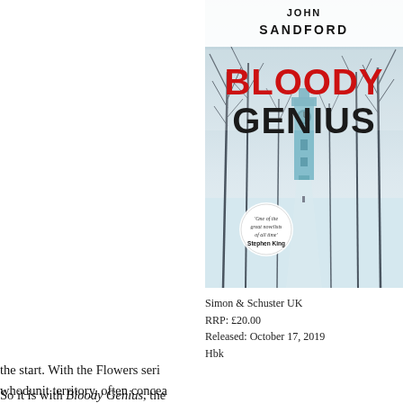[Figure (photo): Book cover of 'Bloody Genius' by John Sandford, published by Simon & Schuster UK. Cover shows a snowy winter scene with bare trees and a clock tower. Red bold title 'BLOODY GENIUS' and author name 'JOHN SANDFORD' in black. A circular badge reads 'One of the great novelists of all time' Stephen King.]
Simon & Schuster UK
RRP: £20.00
Released: October 17, 2019
Hbk
Sandford fills the still p most f thrille from Marsh Minne Appre
As the sugge manhu the ide the start. With the Flowers seri whodunit territory, often concea this way and that before a final
So it is with Bloody Genius, the